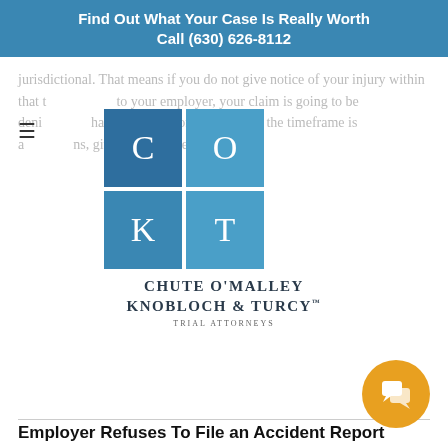Find Out What Your Case Is Really Worth
Call (630) 626-8112
jurisdictional. That means if you do not give notice of your injury within that timeframe to your employer, your claim is going to be denied. If you have any questions about what the timeframe is and how it applies, give us a call. Let's make sure.
[Figure (logo): Chute O'Malley Knobloch & Turcy Trial Attorneys logo with four colored squares forming a grid with letters C, O, K, T]
Employer Refuses To File an Accident Report
We got a call from a gentleman in Naperville last week who had been injured at work, had done everything properly. He had given notice of the accident to his immediate supervisor. He was attempting to get medical treatment. What he found out was that his employer had refused to file the claim and give notification to the carrier. That's going to have a terrible effect on getting the benefits going in that case.
We've had to do this on numerous occasions. We've had to